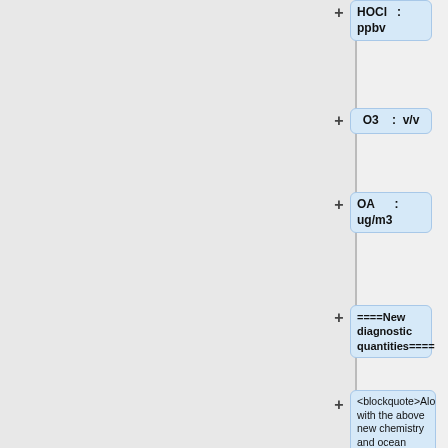HOCl : ppbv
O3 : v/v
OA : ug/m3
====New diagnostic quantities====
<blockquote>Along with the above new chemistry and ocean options, associated diagnostics have been added/updated.</blockquote>
HG-SRCE: